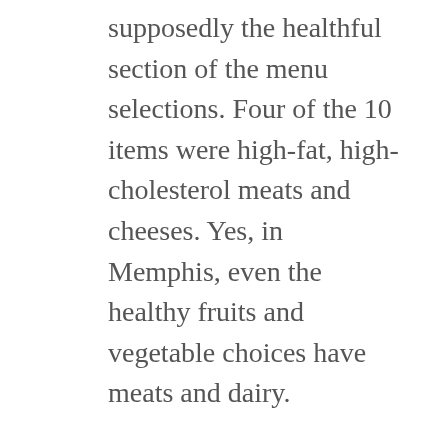supposedly the healthful section of the menu selections. Four of the 10 items were high-fat, high-cholesterol meats and cheeses. Yes, in Memphis, even the healthy fruits and vegetable choices have meats and dairy.
When the hospital celebrated its health workers' appreciation day, guess what was served? Barbecue. If hospitals can ban smoking, then I believe they can ban unhealthful foods in their cafeteria and lounges. “The hospital should be the epicenter of the healthy diet,” a doctor told me as he skirted the meats and put salad on his plate.
Food selection and food placement matter